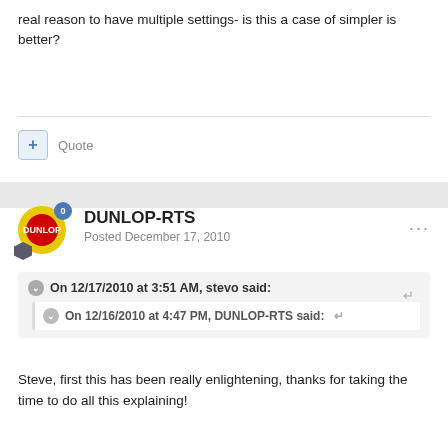real reason to have multiple settings- is this a case of simpler is better?
Quote
DUNLOP-RTS
Posted December 17, 2010
On 12/17/2010 at 3:51 AM, stevo said:
On 12/16/2010 at 4:47 PM, DUNLOP-RTS said:
Steve, first this has been really enlightening, thanks for taking the time to do all this explaining!